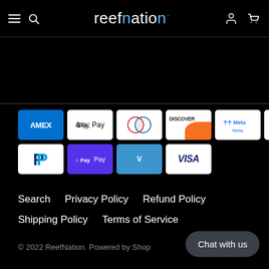reefnation
[Figure (other): Payment method icons: AMEX, Apple Pay, Diners Club, Discover, Meta Pay, G Pay, JCB, Mastercard, PayPal, Shop Pay, Venmo, Visa]
Search   Privacy Policy   Refund Policy
Shipping Policy   Terms of Service
© 2022 ReefNation. Powered by Shop
Chat with us